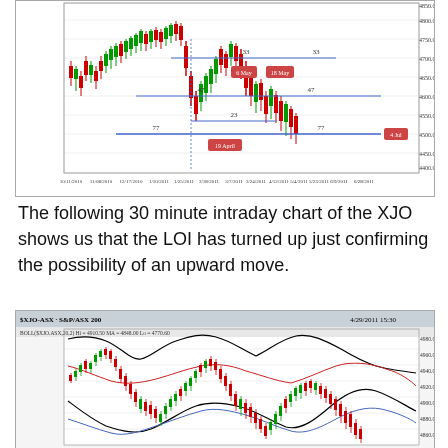[Figure (continuous-plot): Daily candlestick chart of XJO (ASX 200) from 10/11/2010 to 6/28/2011 with horizontal blue lines marking Fibonacci or cycle levels labeled 33, 47, 23, 77. Date annotations '6 May', '18 May', '19 April', '4 Jul' shown in red/orange boxes. Price range approximately 4300-4850.]
The following 30 minute intraday chart of the XJO shows us that the LOI has turned up just confirming the possibility of an upward move.
[Figure (continuous-plot): 30-minute intraday candlestick chart of $XJO-ASX S&P/ASX 200 dated 4/29/2011 15:30. Shows BOLL($XJO.ASX,20,2) with Hi=4910.50, MA=4848.00, Lo=4770.60. Bollinger Bands overlay with black candlesticks, red and blue band lines. Price range approximately 4800-4940.]